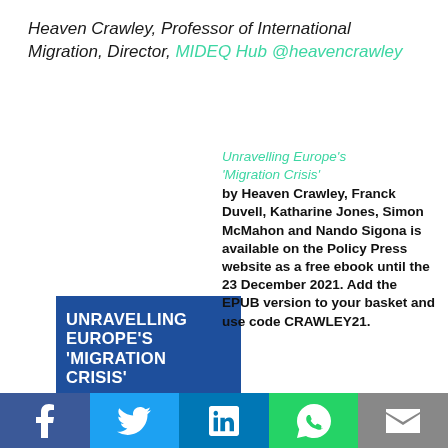Heaven Crawley, Professor of International Migration, Director, MIDEQ Hub @heavencrawley
[Figure (photo): Book cover of 'Unravelling Europe's Migration Crisis' by Heaven Crawley, Franck Duvell, Katharine Jones, Simon McMahon, Nando Sigona. Policy Press Shorts Insights series. Blue cover with image of boats.]
Unravelling Europe's 'Migration Crisis' by Heaven Crawley, Franck Duvell, Katharine Jones, Simon McMahon and Nando Sigona is available on the Policy Press website as a free ebook until the 23 December 2021.  Add the EPUB version to your basket and use code CRAWLEY21.